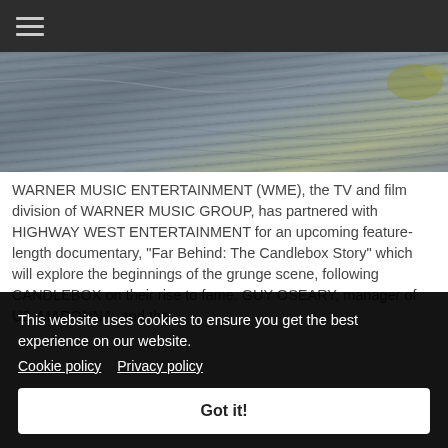Navigation bar with hamburger menu
[Figure (photo): Textured rock or stone surface photograph, grayish blue tones with hints of yellow-green vegetation at top right]
WARNER MUSIC ENTERTAINMENT (WME), the TV and film division of WARNER MUSIC GROUP, has partnered with HIGHWAY WEST ENTERTAINMENT for an upcoming feature-length documentary, "Far Behind: The Candlebox Story" which will explore the beginnings of the grunge scene, following CANDLEBOX on their rise to fame. GUY OSEARY, manager of U2, MADONNA, and the ... [text continues behind cookie banner]
This website uses cookies to ensure you get the best experience on our website.
Cookie policy   Privacy policy
Got it!